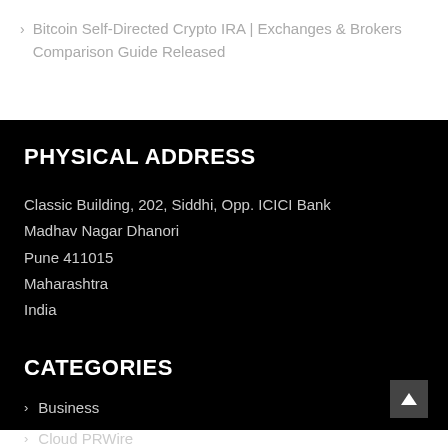Bitcoin Self-Directed Crypto IRA | Exchanges & Brokers Comparison Guide Released
PHYSICAL ADDRESS
Classic Building, 202, Siddhi, Opp. ICICI Bank
Madhav Nagar Dhanori
Pune 411015
Maharashtra
India
CATEGORIES
Business
Cloud PRWire
Entertainment